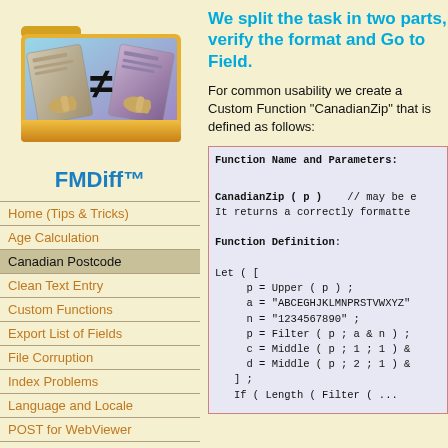[Figure (logo): FMDiff logo showing a folder with two documents and a not-equal sign]
FMDiff™
Home (Tips & Tricks)
Age Calculation
Canadian Postcode
Clean Text Entry
Custom Functions
Export List of Fields
File Corruption
Index Problems
Language and Locale
POST for WebViewer
Print Trouble
Printer Crash
We split the task in two parts, verify the format and Go to Field.
For common usability we create a Custom Function "CanadianZip" that is defined as follows:
[Figure (screenshot): Code box showing Function Name and Parameters: CanadianZip ( p ) // may be e... It returns a correctly formatte... Function Definition: Let ( [ p = Upper ( p ) ; a = "ABCEGHJKLMNPRSTVWXYZ" n = "1234567890" ; p = Filter ( p ; a & n ) ; c = Middle ( p ; 1 ; 1 ) & d = Middle ( p ; 2 ; 1 ) & ] ; If ( Length ( Filter ( ...]